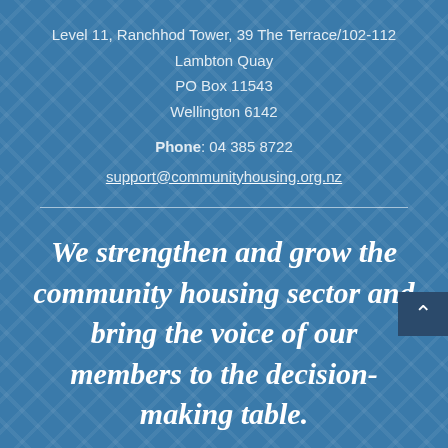Level 11, Ranchhod Tower, 39 The Terrace/102-112
Lambton Quay
PO Box 11543
Wellington 6142

Phone: 04 385 8722
support@communityhousing.org.nz
We strengthen and grow the community housing sector and bring the voice of our members to the decision-making table.